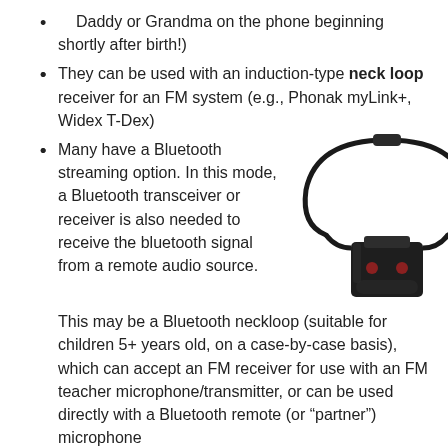Daddy or Grandma on the phone beginning shortly after birth!)
They can be used with an induction-type neck loop receiver for an FM system (e.g., Phonak myLink+, Widex T-Dex)
[Figure (photo): A black FM/Bluetooth neck loop receiver pendant with two small red LED lights, hanging on a black cord/cable.]
Many have a Bluetooth streaming option. In this mode, a Bluetooth transceiver or receiver is also needed to receive the bluetooth signal from a remote audio source. This may be a Bluetooth neckloop (suitable for children 5+ years old, on a case-by-case basis), which can accept an FM receiver for use with an FM teacher microphone/transmitter, or can be used directly with a Bluetooth remote (or “partner”) microphone